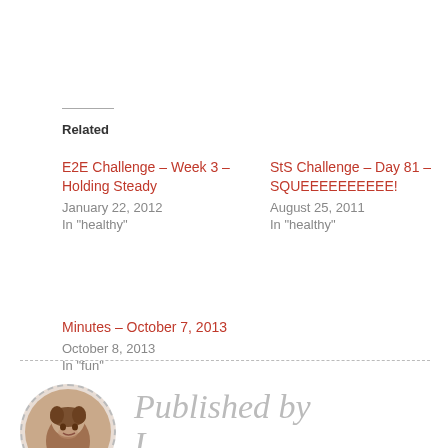Related
E2E Challenge – Week 3 – Holding Steady
January 22, 2012
In "healthy"
StS Challenge – Day 81 – SQUEEEEEEEEEE!
August 25, 2011
In "healthy"
Minutes – October 7, 2013
October 8, 2013
In "fun"
Published by
[Figure (photo): Circular portrait photo of a woman with curly hair, smiling]